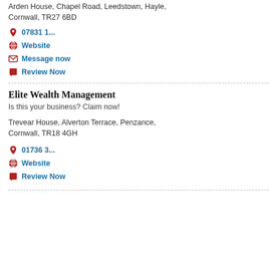Arden House, Chapel Road, Leedstown, Hayle, Cornwall, TR27 6BD
07831 1...
Website
Message now
Review Now
Elite Wealth Management
Is this your business? Claim now!
Trevear House, Alverton Terrace, Penzance, Cornwall, TR18 4GH
01736 3...
Website
Review Now